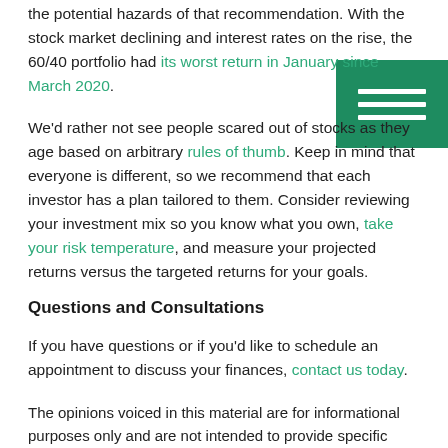the potential hazards of that recommendation. With the stock market declining and interest rates on the rise, the 60/40 portfolio had its worst return in January since March 2020.
We'd rather not see people scared out of stocks as they age based on arbitrary rules of thumb. Keep in mind that everyone is different, so we recommend that each investor has a plan tailored to them. Consider reviewing your investment mix so you know what you own, take your risk temperature, and measure your projected returns versus the targeted returns for your goals.
Questions and Consultations
If you have questions or if you'd like to schedule an appointment to discuss your finances, contact us today.
The opinions voiced in this material are for informational purposes only and are not intended to provide specific advice to any individual. Consult your local tax and/or